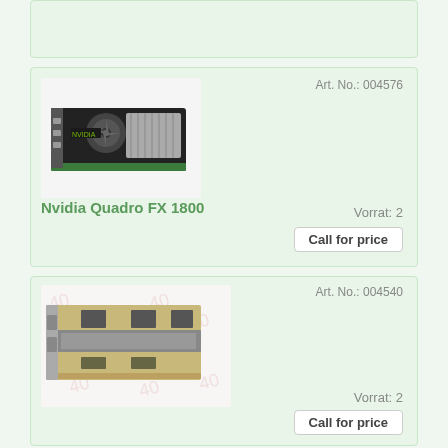[Figure (photo): Partial product card visible at top of page (cut off)]
Art. No.: 004576
Vorrat: 2
Call for price
[Figure (photo): Photo of Nvidia Quadro FX 1800 graphics card, black PCB with fan and green circuit board edge]
Nvidia Quadro FX 1800
Art. No.: 004540
Vorrat: 2
Call for price
[Figure (photo): Photo of a graphics card (PCB with connectors), watermarked background]